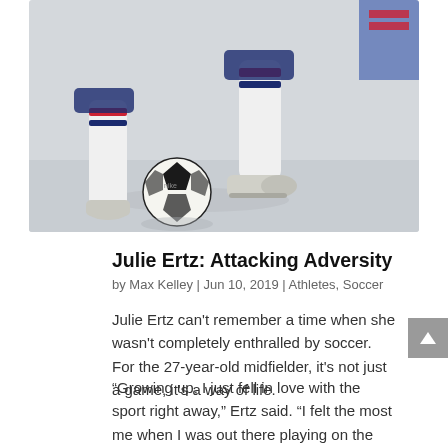[Figure (photo): Soccer player dribbling a ball, showing legs in white socks with red and blue stripes, white cleats, on a light gray surface with a Nike soccer ball]
Julie Ertz: Attacking Adversity
by Max Kelley | Jun 10, 2019 | Athletes, Soccer
Julie Ertz can't remember a time when she wasn't completely enthralled by soccer. For the 27-year-old midfielder, it's not just a game, it's a way of life.
“Growing up, I just fell in love with the sport right away,” Ertz said. “I felt the most me when I was out there playing on the field.”
In 2017, she was named U.S. Soccer Female Player of the Year, and going into this summer, Ertz is expected to be a key component of the 2019 national team. She’s